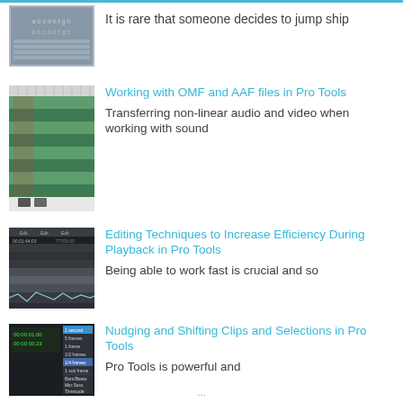[Figure (screenshot): Screenshot thumbnail of audio/DAW software interface]
It is rare that someone decides to jump ship
[Figure (screenshot): Screenshot thumbnail of Pro Tools timeline with colored tracks]
Working with OMF and AAF files in Pro Tools
Transferring non-linear audio and video when working with sound
[Figure (screenshot): Screenshot thumbnail of Pro Tools editing interface with waveforms]
Editing Techniques to Increase Efficiency During Playback in Pro Tools
Being able to work fast is crucial and so
[Figure (screenshot): Screenshot thumbnail showing Pro Tools nudge/clip shift controls]
Nudging and Shifting Clips and Selections in Pro Tools
Pro Tools is powerful and